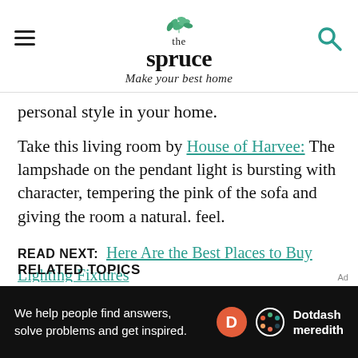the spruce — Make your best home
personal style in your home.
Take this living room by House of Harvee: The lampshade on the pendant light is bursting with character, tempering the pink of the sofa and giving the room a natural. feel.
READ NEXT: Here Are the Best Places to Buy Lighting Fixtures
RELATED TOPICS
We help people find answers, solve problems and get inspired. Dotdash meredith